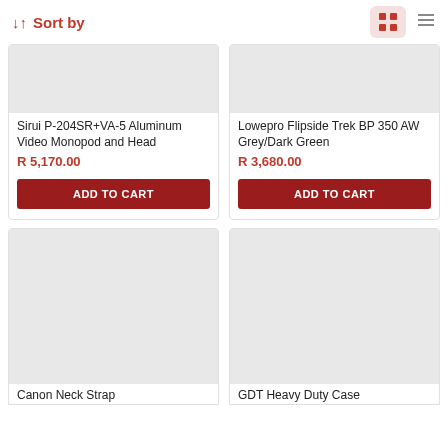↓↑ Sort by
Sirui P-204SR+VA-5 Aluminum Video Monopod and Head
R 5,170.00
ADD TO CART
Lowepro Flipside Trek BP 350 AW Grey/Dark Green
R 3,680.00
ADD TO CART
[Figure (photo): Product image placeholder (grey box) for Canon Neck Strap]
Canon Neck Strap
[Figure (photo): Product image placeholder (grey box) for GDT Heavy Duty Case]
GDT Heavy Duty Case